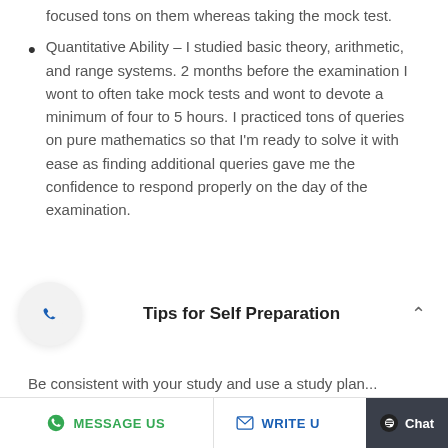focused tons on them whereas taking the mock test.
Quantitative Ability – I studied basic theory, arithmetic, and range systems. 2 months before the examination I wont to often take mock tests and wont to devote a minimum of four to 5 hours. I practiced tons of queries on pure mathematics so that I'm ready to solve it with ease as finding additional queries gave me the confidence to respond properly on the day of the examination.
Tips for Self Preparation
Be consistent with your study and use a study plan...
MESSAGE US   WRITE U   Chat